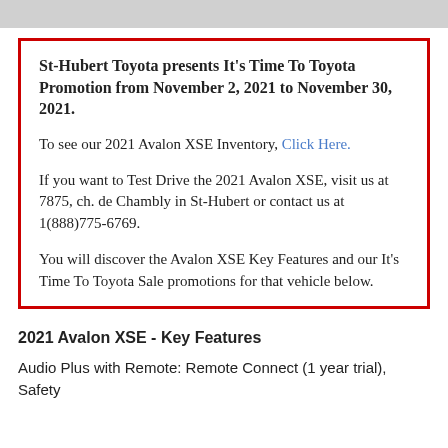St-Hubert Toyota presents It's Time To Toyota Promotion from November 2, 2021 to November 30, 2021.
To see our 2021 Avalon XSE Inventory, Click Here.
If you want to Test Drive the 2021 Avalon XSE, visit us at 7875, ch. de Chambly in St-Hubert or contact us at 1(888)775-6769.
You will discover the Avalon XSE Key Features and our It's Time To Toyota Sale promotions for that vehicle below.
2021 Avalon XSE - Key Features
Audio Plus with Remote: Remote Connect (1 year trial), Safety